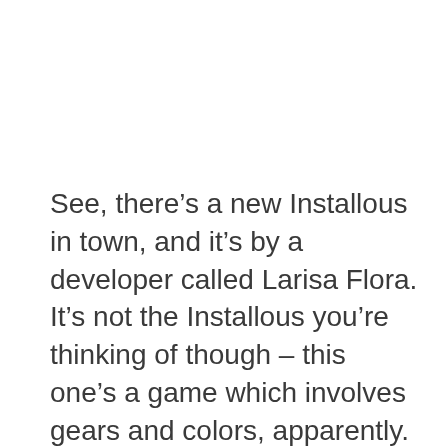See, there’s a new Installous in town, and it’s by a developer called Larisa Flora. It’s not the Installous you’re thinking of though – this one’s a game which involves gears and colors, apparently.
What it’s not, is a way of ripping off developers. And people are not happy at all…
A quick glance at some of the reviews for Installous show that plenty of people seem to be downloading the game in the belief that it will let them pirate apps. It won’t, and they’re mad about